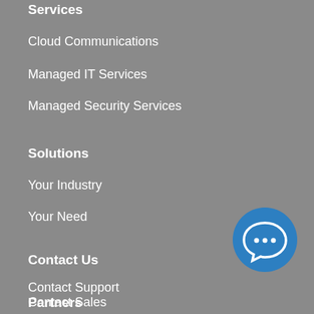Services
Cloud Communications
Managed IT Services
Managed Security Services
Solutions
Your Industry
Your Need
Contact Us
Contact Support
Contact Sales
Office Locations
[Figure (illustration): Blue circular chat bubble icon with three dots inside, positioned at bottom right]
Partners